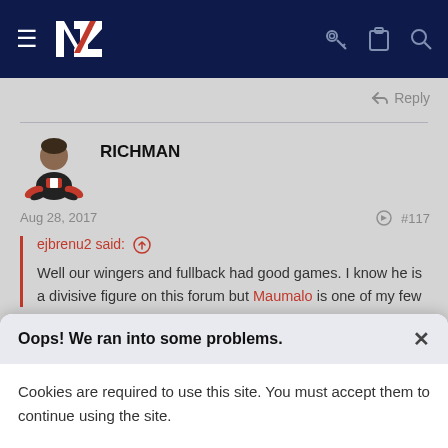NZ Warriors forum navigation bar
Reply
RICHMAN
Aug 28, 2017
#117
ejbrenu2 said: ↑
Well our wingers and fullback had good games. I know he is a divisive figure on this forum but Maumalo is one of my few
Oops! We ran into some problems.
Cookies are required to use this site. You must accept them to continue using the site.